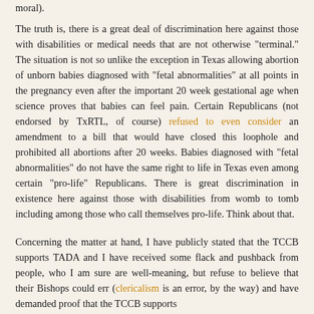moral).
The truth is, there is a great deal of discrimination here against those with disabilities or medical needs that are not otherwise "terminal." The situation is not so unlike the exception in Texas allowing abortion of unborn babies diagnosed with "fetal abnormalities" at all points in the pregnancy even after the important 20 week gestational age when science proves that babies can feel pain. Certain Republicans (not endorsed by TxRTL, of course) refused to even consider an amendment to a bill that would have closed this loophole and prohibited all abortions after 20 weeks. Babies diagnosed with "fetal abnormalities" do not have the same right to life in Texas even among certain "pro-life" Republicans. There is great discrimination in existence here against those with disabilities from womb to tomb including among those who call themselves pro-life. Think about that.
Concerning the matter at hand, I have publicly stated that the TCCB supports TADA and I have received some flack and pushback from people, who I am sure are well-meaning, but refuse to believe that their Bishops could err (clericalism is an error, by the way) and have demanded proof that the TCCB supports in substance or in theory alt to TADA. Although this goes...